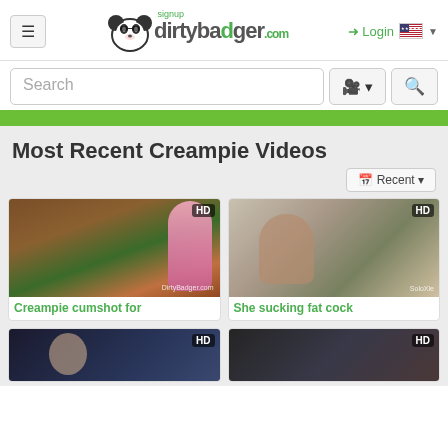[Figure (screenshot): Website header with hamburger menu, dirty badger logo, signup link, login link, and flag icon]
[Figure (screenshot): Search bar with camera button and search magnifier button]
Most Recent Creampie Videos
[Figure (screenshot): Recent sort dropdown button]
[Figure (photo): Video thumbnail for Creampie cumshot for - outdoor scene with pink sculpture, HD badge]
Creampie cumshot for
[Figure (photo): Video thumbnail for She sucking fat cock - woman indoors, HD badge]
She sucking fat cock
[Figure (photo): Bottom left video thumbnail, HD badge, dark blue tones]
[Figure (photo): Bottom right video thumbnail, HD badge, dark tones]